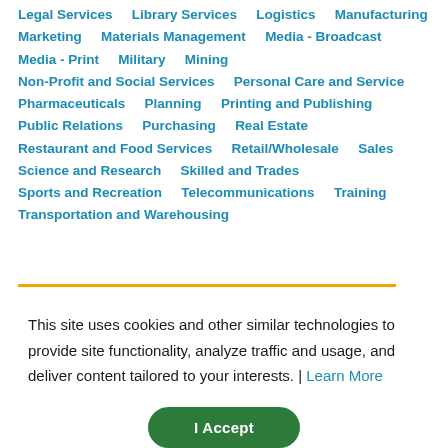Legal Services   Library Services   Logistics   Manufacturing   Marketing   Materials Management   Media - Broadcast   Media - Print   Military   Mining   Non-Profit and Social Services   Personal Care and Service   Pharmaceuticals   Planning   Printing and Publishing   Public Relations   Purchasing   Real Estate   Restaurant and Food Services   Retail/Wholesale   Sales   Science and Research   Skilled and Trades   Sports and Recreation   Telecommunications   Training   Transportation and Warehousing
This site uses cookies and other similar technologies to provide site functionality, analyze traffic and usage, and deliver content tailored to your interests. | Learn More
I Accept